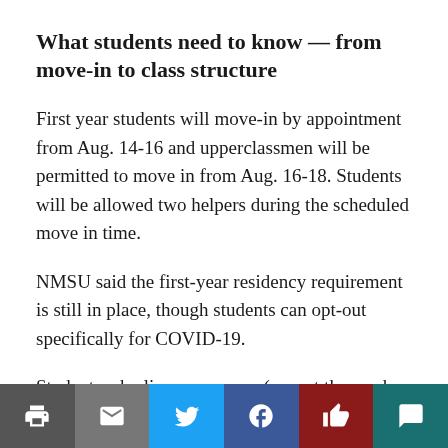What students need to know — from move-in to class structure
First year students will move-in by appointment from Aug. 14-16 and upperclassmen will be permitted to move in from Aug. 16-18. Students will be allowed two helpers during the scheduled move in time.
NMSU said the first-year residency requirement is still in place, though students can opt-out specifically for COVID-19.
Students who live on campus (except those who live in family housing) will
[Figure (other): Social sharing bar with icons for print, email, Twitter, Facebook, like/thumbs-up, and comment]